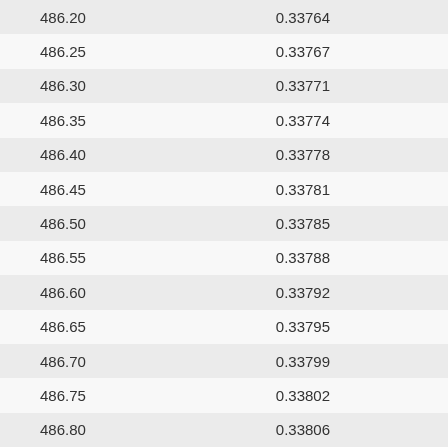| 486.20 | 0.33764 |
| 486.25 | 0.33767 |
| 486.30 | 0.33771 |
| 486.35 | 0.33774 |
| 486.40 | 0.33778 |
| 486.45 | 0.33781 |
| 486.50 | 0.33785 |
| 486.55 | 0.33788 |
| 486.60 | 0.33792 |
| 486.65 | 0.33795 |
| 486.70 | 0.33799 |
| 486.75 | 0.33802 |
| 486.80 | 0.33806 |